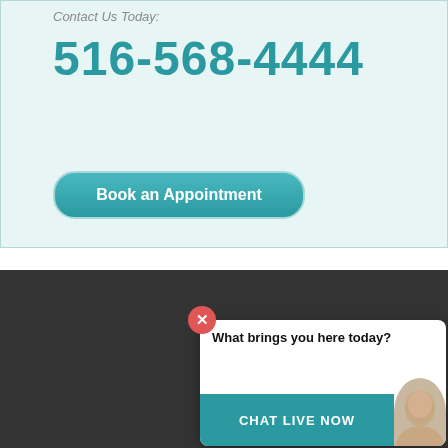Contact Us Today:
516-568-4444
Book an Appointment
Home  Locations  Staff  Services  About Us  Medical Library  Contact Us  Insurance  Testimonials  Links  FAQs  Patient Forms  Employment
Copyright © 2022 Advan...
[Figure (other): Accessibility icon button (person in circle)]
Wantagh
[Figure (other): Chat popup overlay with close button, text 'What brings you here today?' and 'CHAT LIVE NOW' button with avatar]
MenuItem
[Figure (other): Social media icons: Facebook, Twitter, LinkedIn, YouTube]